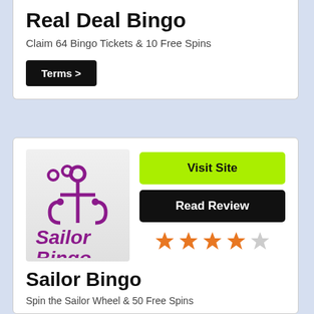Real Deal Bingo
Claim 64 Bingo Tickets & 10 Free Spins
Terms >
[Figure (logo): Sailor Bingo logo with anchor icon and purple text]
Visit Site
Read Review
[Figure (other): 4 out of 5 orange star rating]
Sailor Bingo
Spin the Sailor Wheel & 50 Free Spins
Terms >